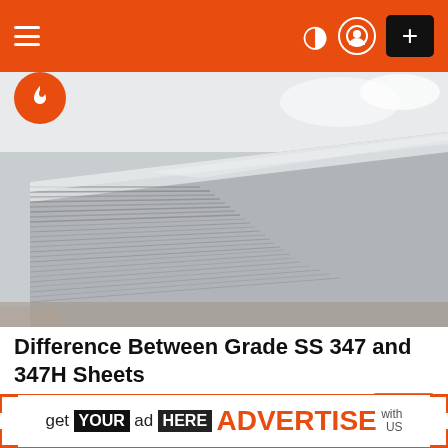Navigation header with hamburger menu, dark mode icon, user icon, and plus button
[Figure (photo): Stack of stainless steel sheets photographed from an angle, showing multiple layers of flat metal sheets in a warehouse setting with bright lighting]
Difference Between Grade SS 347 and 347H Sheets
by Kashap • 10 days ago
× close
get YOUR ad HERE ADVERTISE with US